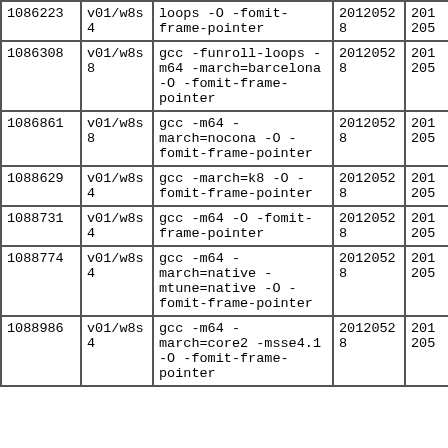| 1086223 | v01/w8s4 | loops -O -fomit-frame-pointer | 20120528 | 201205 |
| 1086308 | v01/w8s8 | gcc -funroll-loops -m64 -march=barcelona -O -fomit-frame-pointer | 20120528 | 201205 |
| 1086861 | v01/w8s8 | gcc -m64 -march=nocona -O -fomit-frame-pointer | 20120528 | 201205 |
| 1088629 | v01/w8s4 | gcc -march=k8 -O -fomit-frame-pointer | 20120528 | 201205 |
| 1088731 | v01/w8s4 | gcc -m64 -O -fomit-frame-pointer | 20120528 | 201205 |
| 1088774 | v01/w8s4 | gcc -m64 -march=native -mtune=native -O -fomit-frame-pointer | 20120528 | 201205 |
| 1088986 | v01/w8s4 | gcc -m64 -march=core2 -msse4.1 -O -fomit-frame-pointer | 20120528 | 201205 |